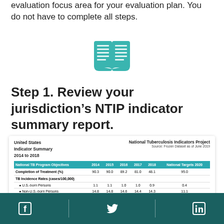evaluation focus area for your evaluation plan. You do not have to complete all steps.
[Figure (illustration): Teal open book icon]
Step 1. Review your jurisdiction's NTIP indicator summary report.
[Figure (table-as-image): NTIP Indicator Summary Report table showing United States Indicator Summary 2014 to 2018 with National TB Program Objectives data]
Social media icons: Facebook, Twitter, LinkedIn